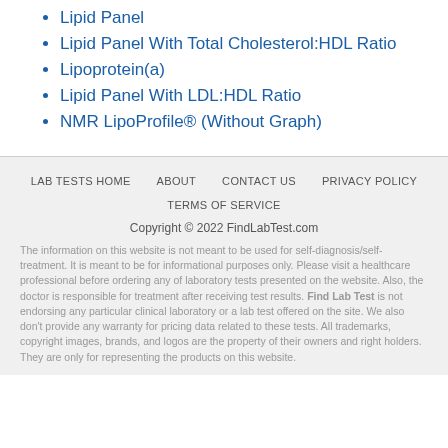Lipid Panel
Lipid Panel With Total Cholesterol:HDL Ratio
Lipoprotein(a)
Lipid Panel With LDL:HDL Ratio
NMR LipoProfile® (Without Graph)
LAB TESTS HOME   ABOUT   CONTACT US   PRIVACY POLICY   TERMS OF SERVICE   Copyright © 2022 FindLabTest.com   The information on this website is not meant to be used for self-diagnosis/self-treatment. It is meant to be for informational purposes only. Please visit a healthcare professional before ordering any of laboratory tests presented on the website. Also, the doctor is responsible for treatment after receiving test results. Find Lab Test is not endorsing any particular clinical laboratory or a lab test offered on the site. We also don't provide any warranty for pricing data related to these tests. All trademarks, copyright images, brands, and logos are the property of their owners and right holders. They are only for representing the products on this website.